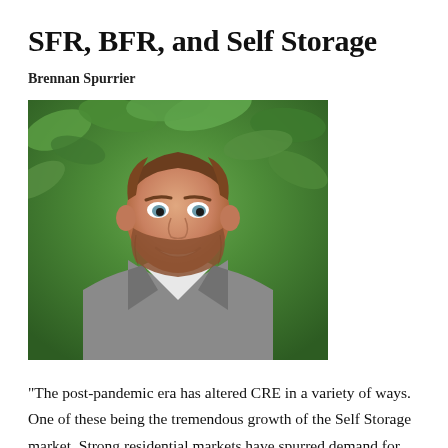SFR, BFR, and Self Storage
Brennan Spurrier
[Figure (photo): Professional headshot of Brennan Spurrier, a young man with brown hair and beard, wearing a grey blazer and white shirt, smiling in front of green foliage background.]
"The post-pandemic era has altered CRE in a variety of ways. One of these being the tremendous growth of the Self Storage market. Strong residential markets have spurred demand for storage and will continue to do so in